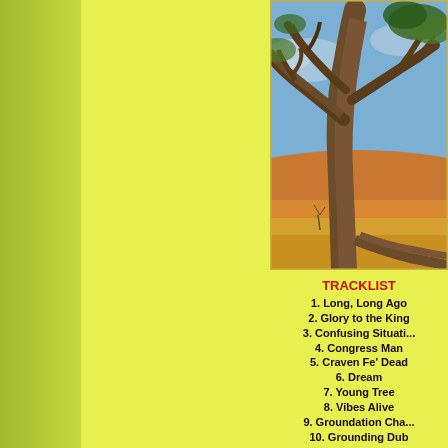[Figure (illustration): Illustration of a large ancient tree with gnarled branches against a blue sky, with golden/orange rolling hills in the background. Artistic rendering in colored pencil or watercolor style.]
TRACKLIST
1. Long, Long Ago
2. Glory to the King
3. Confusing Situati...
4. Congress Man
5. Craven Fe' Dead
6. Dream
7. Young Tree
8. Vibes Alive
9. Groundation Cha...
10. Grounding Dub